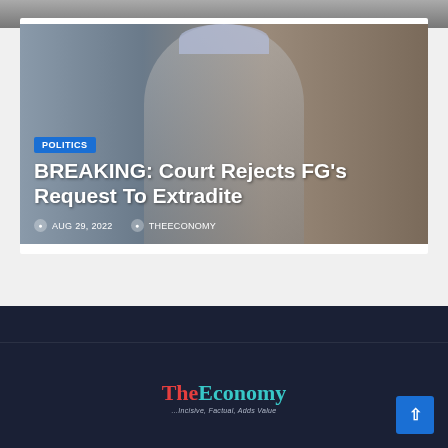[Figure (photo): Portrait photo of a man wearing a traditional Nigerian cap overlaid with article title and metadata]
POLITICS
BREAKING: Court Rejects FG's Request To Extradite
AUG 29, 2022  THEECONOMY
[Figure (logo): TheEconomy logo with tagline ...Incisive, Factual, Adds Value]
TheEconomy — ...Incisive, Factual, Adds Value